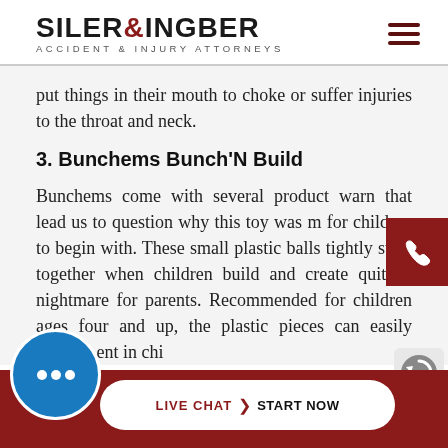SILER & INGBER ACCIDENT & INJURY ATTORNEYS
put things in their mouth to choke or suffer injuries to the throat and neck.
3. Bunchems Bunch'N Build
Bunchems come with several product warnings that lead us to question why this toy was made for children to begin with. These small plastic balls tightly stick together when children build and create quite a nightmare for parents. Recommended for children ages four and up, the plastic pieces can easily become entangled in chi...